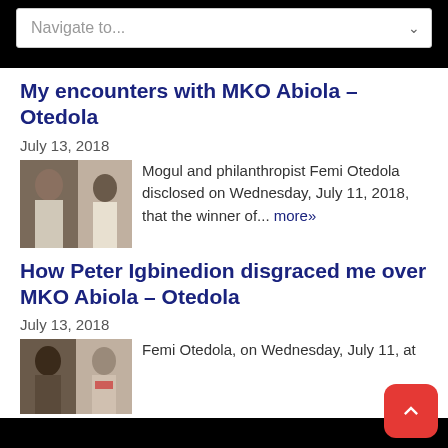Navigate to...
My encounters with MKO Abiola – Otedola
July 13, 2018
Mogul and philanthropist Femi Otedola disclosed on Wednesday, July 11, 2018, that the winner of... more»
How Peter Igbinedion disgraced me over MKO Abiola – Otedola
July 13, 2018
Femi Otedola, on Wednesday, July 11, at